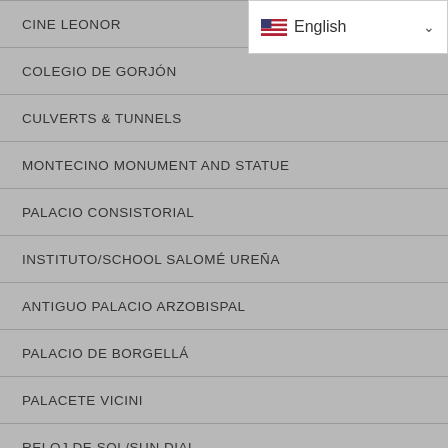CINE LEONOR
COLEGIO DE GORJÓN
CULVERTS & TUNNELS
MONTECINO MONUMENT AND STATUE
PALACIO CONSISTORIAL
INSTITUTO/SCHOOL SALOMÉ UREÑA
ANTIGUO PALACIO ARZOBISPAL
PALACIO DE BORGELLÁ
PALACETE VICINI
RELOJ DE SOL/SUN DIAL
RUINS OF THE SAN FRANCISCO MONASTERY
RUINAS HOSPITAL SAN NICOLÁS DE BARI